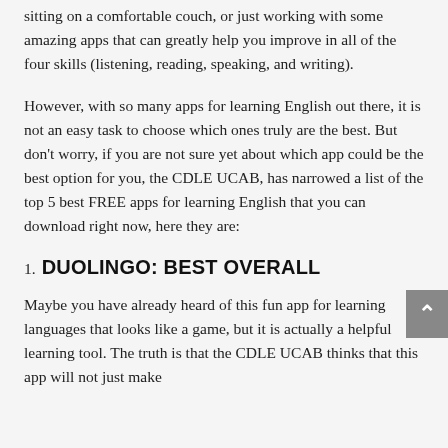sitting on a comfortable couch, or just working with some amazing apps that can greatly help you improve in all of the four skills (listening, reading, speaking, and writing).
However, with so many apps for learning English out there, it is not an easy task to choose which ones truly are the best. But don't worry, if you are not sure yet about which app could be the best option for you, the CDLE UCAB, has narrowed a list of the top 5 best FREE apps for learning English that you can download right now, here they are:
1. DUOLINGO: BEST OVERALL
Maybe you have already heard of this fun app for learning languages that looks like a game, but it is actually a helpful learning tool. The truth is that the CDLE UCAB thinks that this app will not just make